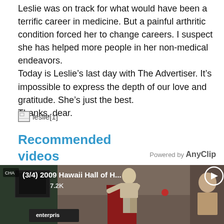Leslie was on track for what would have been a terrific career in medicine. But a painful arthritic condition forced her to change careers. I suspect she has helped more people in her non-medical endeavors.
Today is Leslie's last day with The Advertiser. It's impossible to express the depth of our love and gratitude. She's just the best.
Thanks, dear.
[Figure (other): Broken image placeholder labeled leslie[1]]
Recommended videos
Powered by AnyClip
[Figure (screenshot): Video thumbnail showing a speaker at a red podium at the 2009 Hawaii Hall of H... event with 7.2K views, with an Enterprise sign in the lower left and a play button in the upper right corner.]